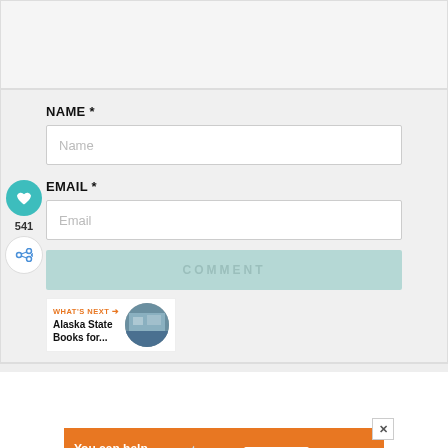[Figure (screenshot): Top empty content area with light gray background and border]
NAME *
[Figure (screenshot): Name text input field with placeholder 'Name']
EMAIL *
[Figure (screenshot): Email text input field with placeholder 'Email']
[Figure (screenshot): COMMENT button in light teal/mint color]
[Figure (screenshot): Side widget with heart icon (teal circle), 541 count, and share icon]
WHAT'S NEXT → Alaska State Books for...
[Figure (screenshot): Advertisement banner: You can help hungry kids. No Kid Hungry. LEARN HOW. With close button and Mobi logo.]